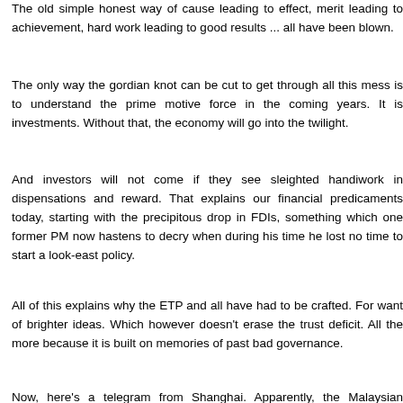The old simple honest way of cause leading to effect, merit leading to achievement, hard work leading to good results ... all have been blown.
The only way the gordian knot can be cut to get through all this mess is to understand the prime motive force in the coming years. It is investments. Without that, the economy will go into the twilight.
And investors will not come if they see sleighted handiwork in dispensations and reward. That explains our financial predicaments today, starting with the precipitous drop in FDIs, something which one former PM now hastens to decry when during his time he lost no time to start a look-east policy.
All of this explains why the ETP and all have had to be crafted. For want of brighter ideas. Which however doesn't erase the trust deficit. All the more because it is built on memories of past bad governance.
Now, here's a telegram from Shanghai. Apparently, the Malaysian Pavilion there is a shambles. There's a queue